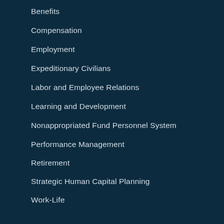Benefits
Compensation
Employment
Expeditionary Civilians
Labor and Employee Relations
Learning and Development
Nonappropriated Fund Personnel System
Performance Management
Retirement
Strategic Human Capital Planning
Work-Life
Learning and Professional Development
Civilian Leader Development and Broadening Programs
Senior Leader Development Programs